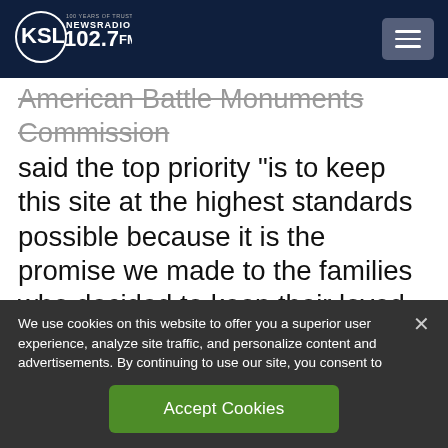[Figure (logo): KSL NewsRadio 102.7 FM logo — white circular badge with KSL text on dark navy background header]
American Battle Monuments Commission said the top priority “is to keep this site at the highest standards possible because it is the promise we made to the families who decided to keep their loved ones with us. It overrides every other priority.”
We use cookies on this website to offer you a superior user experience, analyze site traffic, and personalize content and advertisements. By continuing to use our site, you consent to our use of cookies. Please visit our Privacy Policy for more information.
Accept Cookies